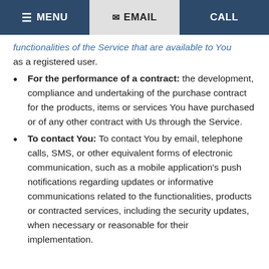MENU | EMAIL | CALL
functionalities of the Service that are available to You as a registered user.
For the performance of a contract: the development, compliance and undertaking of the purchase contract for the products, items or services You have purchased or of any other contract with Us through the Service.
To contact You: To contact You by email, telephone calls, SMS, or other equivalent forms of electronic communication, such as a mobile application’s push notifications regarding updates or informative communications related to the functionalities, products or contracted services, including the security updates, when necessary or reasonable for their implementation.